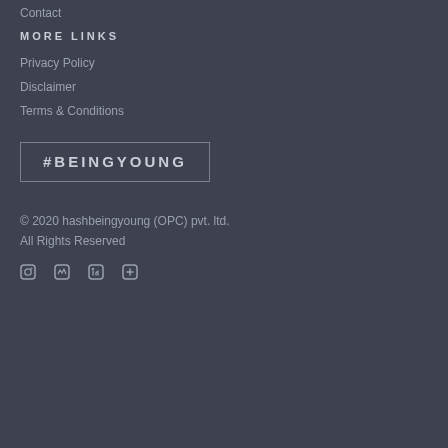Contact
MORE LINKS
Privacy Policy
Disclaimer
Terms & Conditions
#BEINGYOUNG
© 2020 hashbeingyoung (OPC) pvt. ltd.
All Rights Reserved
[Figure (illustration): Four social media icons displayed in a row]